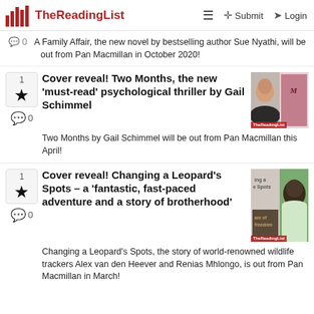TheReadingList — Submit | Login
A Family Affair, the new novel by bestselling author Sue Nyathi, will be out from Pan Macmillan in October 2020!
Cover reveal! Two Months, the new 'must-read' psychological thriller by Gail Schimmel
Two Months by Gail Schimmel will be out from Pan Macmillan this April!
Cover reveal! Changing a Leopard's Spots – a 'fantastic, fast-paced adventure and a story of brotherhood'
Changing a Leopard's Spots, the story of world-renowned wildlife trackers Alex van den Heever and Renias Mhlongo, is out from Pan Macmillan in March!